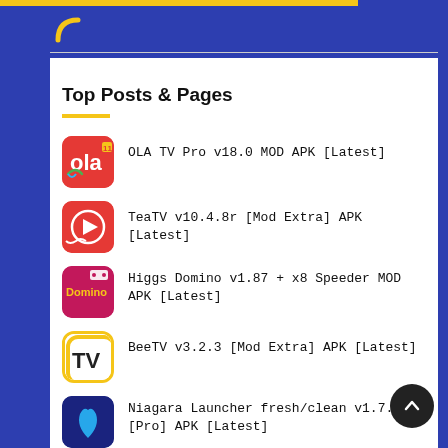[Figure (logo): Yellow arc/hook logo mark on white background]
Top Posts & Pages
OLA TV Pro v18.0 MOD APK [Latest]
TeaTV v10.4.8r [Mod Extra] APK [Latest]
Higgs Domino v1.87 + x8 Speeder MOD APK [Latest]
BeeTV v3.2.3 [Mod Extra] APK [Latest]
Niagara Launcher fresh/clean v1.7.4 [Pro] APK [Latest]
YouTube Vanced v17.32.32 [Mod] No...